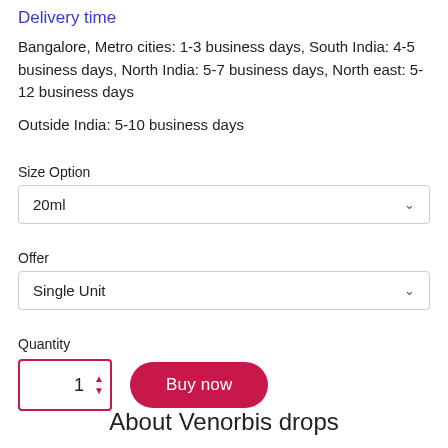Delivery time
Bangalore, Metro cities: 1-3 business days, South India: 4-5 business days, North India: 5-7 business days, North east: 5-12 business days
Outside India: 5-10 business days
Size Option
20ml
Offer
Single Unit
Quantity
1
Buy now
About Venorbis drops